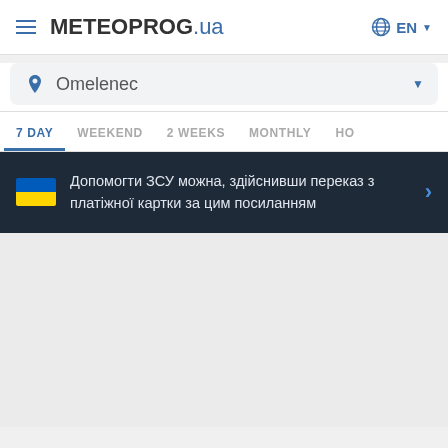METEOPROG.ua  EN
Omelenec
7 DAY  WEEKEND  2 WEEKS  MONTHLY  HO
Допомогти ЗСУ можна, здійснивши переказ з платіжної картки за цим посиланням